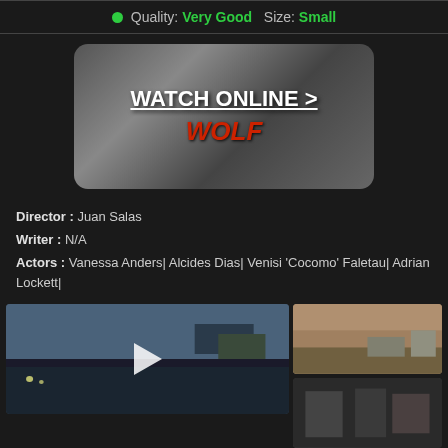Quality: Very Good  Size: Small
[Figure (screenshot): Watch Online banner with blurred movie poster background showing 'WATCH ONLINE >' text and 'WOLF' title in red]
Director : Juan Salas
Writer : N/A
Actors : Vanessa Anders| Alcides Dias| Venisi 'Cocomo' Faletau| Adrian Lockett|
[Figure (screenshot): Video thumbnail showing outdoor city scene with play button overlay]
[Figure (screenshot): Small thumbnail showing parking lot scene]
[Figure (screenshot): Small thumbnail showing indoor scene with people]